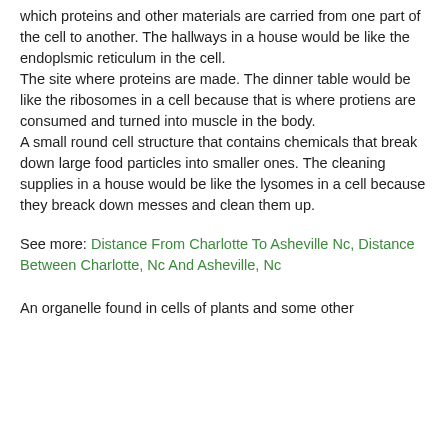which proteins and other materials are carried from one part of the cell to another. The hallways in a house would be like the endoplsmic reticulum in the cell.
The site where proteins are made. The dinner table would be like the ribosomes in a cell because that is where protiens are consumed and turned into muscle in the body.
A small round cell structure that contains chemicals that break down large food particles into smaller ones. The cleaning supplies in a house would be like the lysomes in a cell because they breack down messes and clean them up.
See more: Distance From Charlotte To Asheville Nc, Distance Between Charlotte, Nc And Asheville, Nc
An organelle found in cells of plants and some other